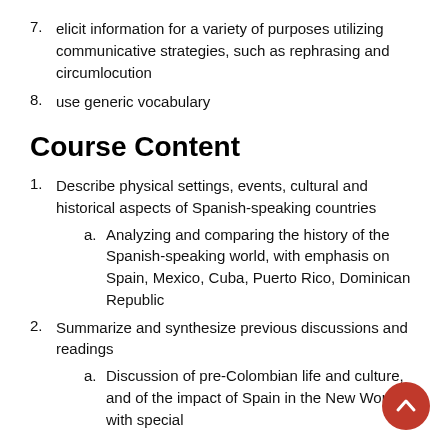7. elicit information for a variety of purposes utilizing communicative strategies, such as rephrasing and circumlocution
8. use generic vocabulary
Course Content
1. Describe physical settings, events, cultural and historical aspects of Spanish-speaking countries
a. Analyzing and comparing the history of the Spanish-speaking world, with emphasis on Spain, Mexico, Cuba, Puerto Rico, Dominican Republic
2. Summarize and synthesize previous discussions and readings
a. Discussion of pre-Colombian life and culture, and of the impact of Spain in the New World, with special